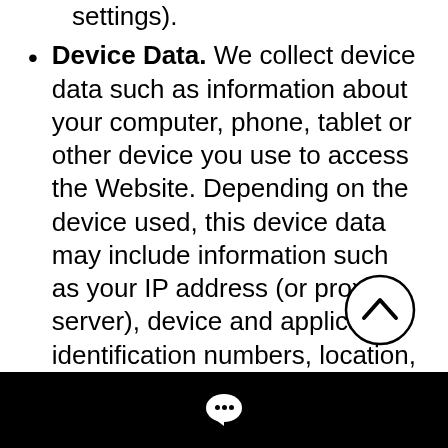settings).
Device Data. We collect device data such as information about your computer, phone, tablet or other device you use to access the Website. Depending on the device used, this device data may include information such as your IP address (or proxy server), device and application identification numbers, location, browser type, hardware model Internet service provider and/or mobile carrier, operating system and system configuration information.
Location Data. We collect location data such as